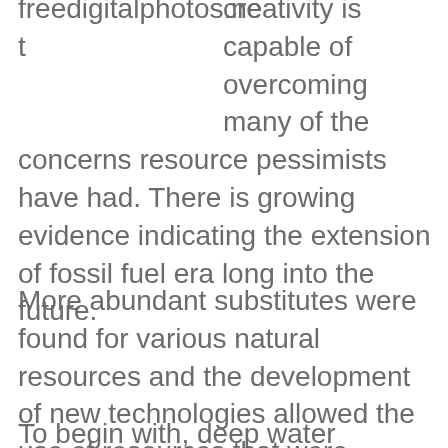freedigitalphotos.net creativity is capable of overcoming many of the concerns resource pessimists have had. There is growing evidence indicating the extension of fossil fuel era long into the future.
More abundant substitutes were found for various natural resources and the development of new technologies allowed the use of resources that were previously uneconomical.
To begin with, deep water offshore